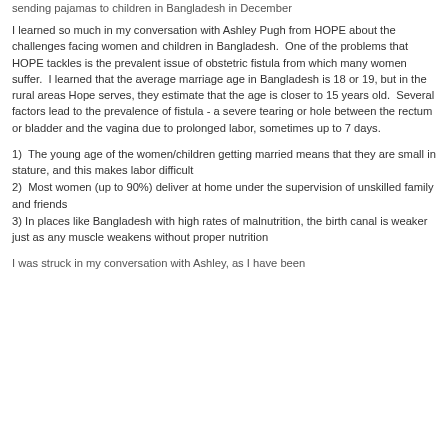sending pajamas to children in Bangladesh in December
I learned so much in my conversation with Ashley Pugh from HOPE about the challenges facing women and children in Bangladesh.  One of the problems that HOPE tackles is the prevalent issue of obstetric fistula from which many women suffer.  I learned that the average marriage age in Bangladesh is 18 or 19, but in the rural areas Hope serves, they estimate that the age is closer to 15 years old.  Several factors lead to the prevalence of fistula - a severe tearing or hole between the rectum or bladder and the vagina due to prolonged labor, sometimes up to 7 days.
1)  The young age of the women/children getting married means that they are small in stature, and this makes labor difficult
2)  Most women (up to 90%) deliver at home under the supervision of unskilled family and friends
3) In places like Bangladesh with high rates of malnutrition, the birth canal is weaker just as any muscle weakens without proper nutrition
I was struck in my conversation with Ashley, as I have been